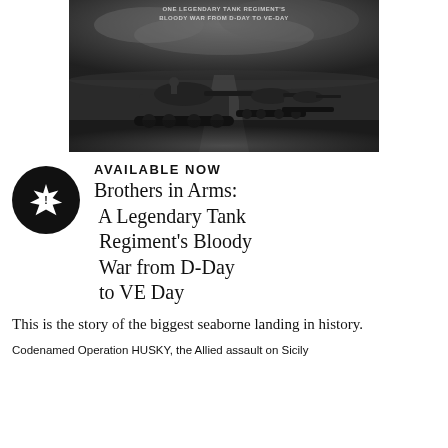[Figure (photo): Black and white photograph of WWII Sherman tanks in a column on a road, used as a book cover image. Text at top reads 'ONE LEGENDARY TANK REGIMENT'S BLOODY WAR FROM D-DAY TO VE-DAY'.]
AVAILABLE NOW
Brothers in Arms: A Legendary Tank Regiment's Bloody War from D-Day to VE Day
This is the story of the biggest seaborne landing in history.
Codenamed Operation HUSKY, the Allied assault on Sicily